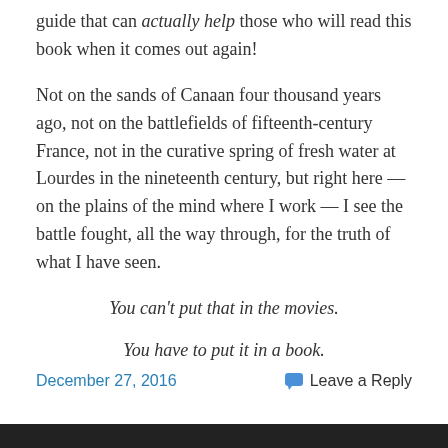guide that can actually help those who will read this book when it comes out again!
Not on the sands of Canaan four thousand years ago, not on the battlefields of fifteenth-century France, not in the curative spring of fresh water at Lourdes in the nineteenth century, but right here — on the plains of the mind where I work — I see the battle fought, all the way through, for the truth of what I have seen.
You can't put that in the movies.
You have to put it in a book.
December 27, 2016   Leave a Reply